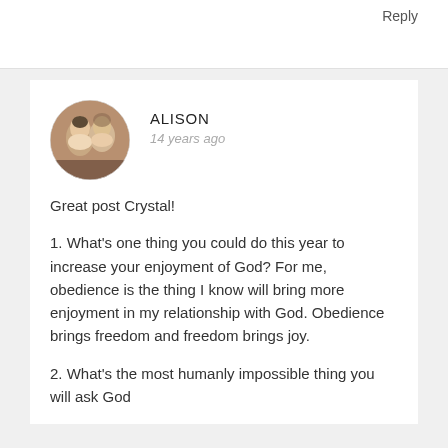Reply
[Figure (photo): Circular avatar photo of two people (Alison), a woman and a man close together, smiling.]
ALISON
14 years ago
Great post Crystal!

1. What's one thing you could do this year to increase your enjoyment of God? For me, obedience is the thing I know will bring more enjoyment in my relationship with God. Obedience brings freedom and freedom brings joy.

2. What's the most humanly impossible thing you will ask God